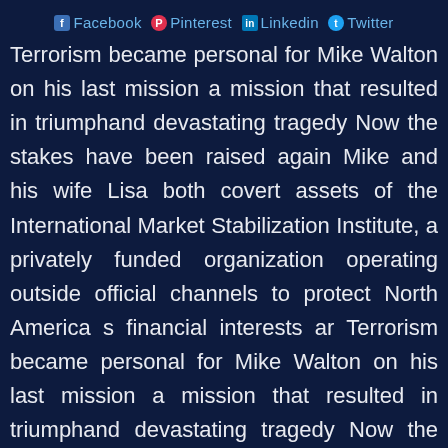Facebook Pinterest Linkedin Twitter
Terrorism became personal for Mike Walton on his last mission a mission that resulted in triumphand devastating tragedy Now the stakes have been raised again Mike and his wife Lisa both covert assets of the International Market Stabilization Institute, a privately funded organization operating outside official channels to protect North America s financial interests ar Terrorism became personal for Mike Walton on his last mission a mission that resulted in triumphand devastating tragedy Now the stakes have been raised again Mike and his wife Lisa both covert assets of the